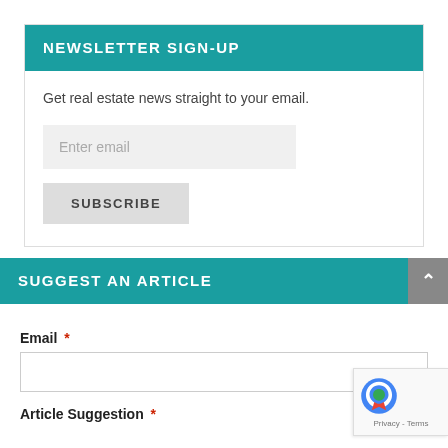NEWSLETTER SIGN-UP
Get real estate news straight to your email.
Enter email
SUBSCRIBE
SUGGEST AN ARTICLE
Email *
Article Suggestion *